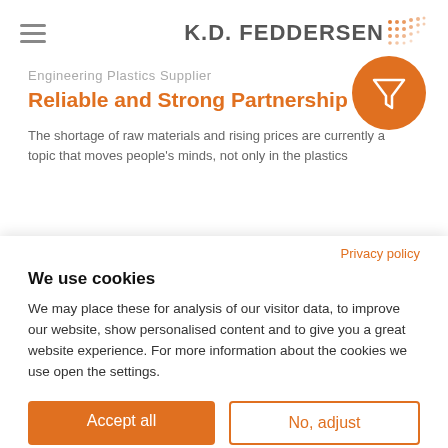K.D. FEDDERSEN
Engineering Plastics Supplier
Reliable and Strong Partnership
The shortage of raw materials and rising prices are currently a topic that moves people's minds, not only in the plastics
Privacy policy
We use cookies
We may place these for analysis of our visitor data, to improve our website, show personalised content and to give you a great website experience. For more information about the cookies we use open the settings.
Accept all
No, adjust